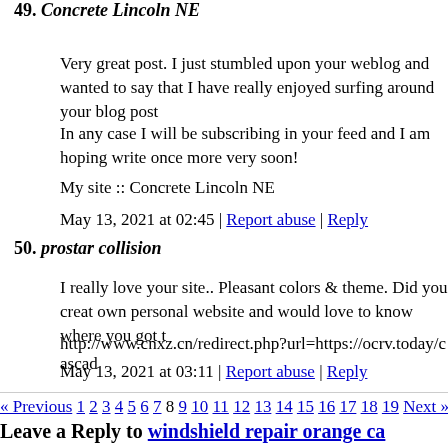49. Concrete Lincoln NE
Very great post. I just stumbled upon your weblog and wanted to say that I have really enjoyed surfing around your blog post
In any case I will be subscribing in your feed and I am hoping write once more very soon!
My site :: Concrete Lincoln NE
May 13, 2021 at 02:45 | Report abuse | Reply
50. prostar collision
I really love your site.. Pleasant colors & theme. Did you creat own personal website and would love to know where you got t
http://www.cnxz.cn/redirect.php?url=https://ocrv.today/cascad
May 13, 2021 at 03:11 | Report abuse | Reply
« Previous 1 2 3 4 5 6 7 8 9 10 11 12 13 14 15 16 17 18 19 Next »
Leave a Reply to windshield repair orange ca
Click here to cancel reply.
| Name: (required) | E-mail: (required, but will not) |
| --- | --- |